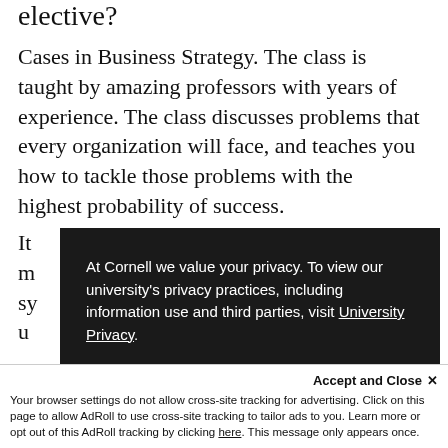elective?
Cases in Business Strategy. The class is taught by amazing professors with years of experience. The class discusses problems that every organization will face, and teaches you how to tackle those problems with the highest probability of success.
It ... m... sy... u...
[Figure (screenshot): Cornell University privacy notice overlay on dark background reading: 'At Cornell we value your privacy. To view our university's privacy practices, including information use and third parties, visit University Privacy.' with a red button 'Thanks for letting me know']
[Figure (screenshot): Cookie/tracking banner at bottom: 'Accept and Close X' and text about browser settings not allowing cross-site tracking for advertising, with AdRoll mention and a link 'here'.]